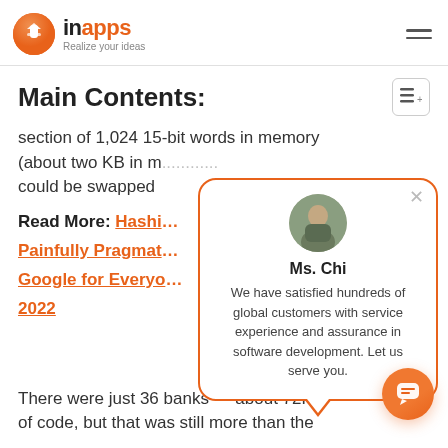inapps - Realize your ideas
Main Contents:
section of 1,024 15-bit words in memory (about two KB in me... could be swapped
Read More: Hashi... Painfully Pragmat... Google for Everyo... 2022
[Figure (other): Chat popup with avatar of Ms. Chi. Contains name 'Ms. Chi' and text: 'We have satisfied hundreds of global customers with service experience and assurance in software development. Let us serve you.' Orange border, close button top-right.]
There were just 36 banks — about 72KB of code, but that was still more than the